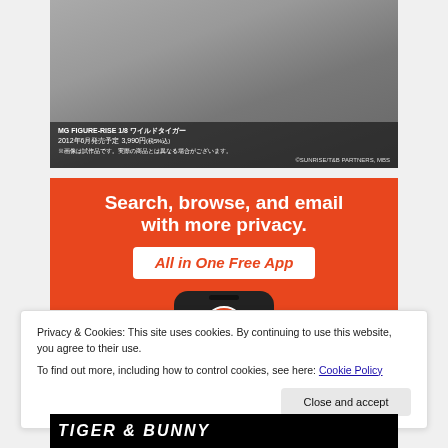[Figure (photo): MG Figure-Rise 1/8 Wild Tiger robot model figure showing lower legs and feet in white, black and green color scheme against grey background. Copyright SUNRISE/T&B PARTNERS, MBS]
[Figure (advertisement): DuckDuckGo advertisement banner with orange background. Text: 'Search, browse, and email with more privacy. All in One Free App'. Shows phone mock-up with DuckDuckGo duck logo.]
Privacy & Cookies: This site uses cookies. By continuing to use this website, you agree to their use.
To find out more, including how to control cookies, see here: Cookie Policy
[Figure (photo): Bottom strip showing Tiger & Bunny anime/media branding in yellow and white text on black background]